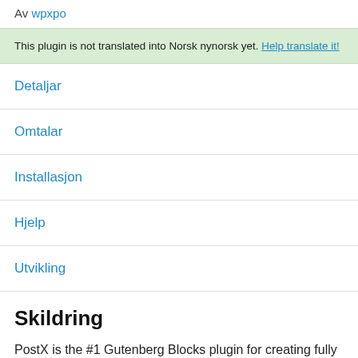Av wpxpo
This plugin is not translated into Norsk nynorsk yet. Help translate it!
Detaljar
Omtalar
Installasjon
Hjelp
Utvikling
Skildring
PostX is the #1 Gutenberg Blocks plugin for creating fully customized News, Magazines, Review Websites, Personal Blogs, Travel Blogs, Fashion Blogs, Viral News, Food Reviews, Recipes Blogs, etc.